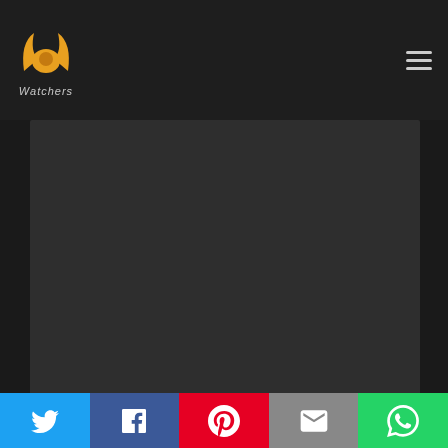[Figure (logo): PP Watchers logo with stylized horns icon in orange/yellow and italic 'Watchers' text below]
[Figure (screenshot): Dark video player placeholder area]
If you like El espejo de los otros, you may like:
[Figure (infographic): Social sharing bar with Twitter, Facebook, Pinterest, Email, and WhatsApp buttons]